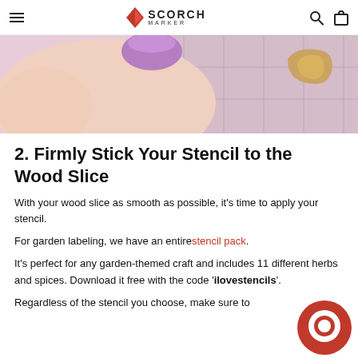SCORCH MARKER
[Figure (photo): Close-up of a hand with purple nail polish holding a stencil over a light pink surface with grid lines]
2. Firmly Stick Your Stencil to the Wood Slice
With your wood slice as smooth as possible, it’s time to apply your stencil.
For garden labeling, we have an entire stencil pack.
It’s perfect for any garden-themed craft and includes 11 different herbs and spices. Download it free with the code ‘ilovestencils’.
Regardless of the stencil you choose, make sure to